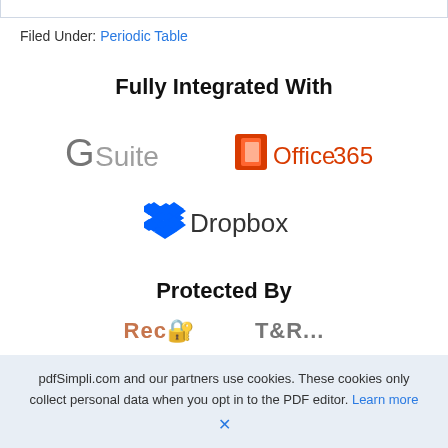Filed Under: Periodic Table
Fully Integrated With
[Figure (logo): G Suite logo and Office 365 logo side by side]
[Figure (logo): Dropbox logo]
Protected By
[Figure (logo): Partial logos at bottom, cut off]
pdfSimpli.com and our partners use cookies. These cookies only collect personal data when you opt in to the PDF editor. Learn more